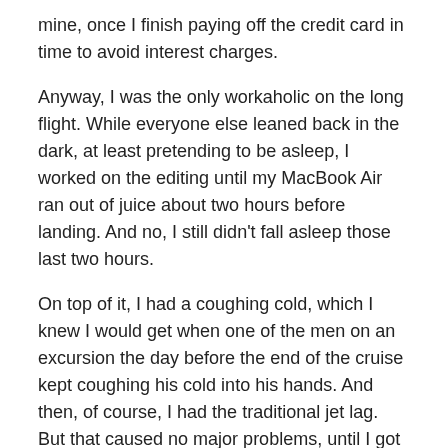mine, once I finish paying off the credit card in time to avoid interest charges.
Anyway, I was the only workaholic on the long flight. While everyone else leaned back in the dark, at least pretending to be asleep, I worked on the editing until my MacBook Air ran out of juice about two hours before landing. And no, I still didn't fall asleep those last two hours.
On top of it, I had a coughing cold, which I knew I would get when one of the men on an excursion the day before the end of the cruise kept coughing his cold into his hands. And then, of course, I had the traditional jet lag. But that caused no major problems, until I got to work on my computers and accepted the aid of a very nice tech support person.